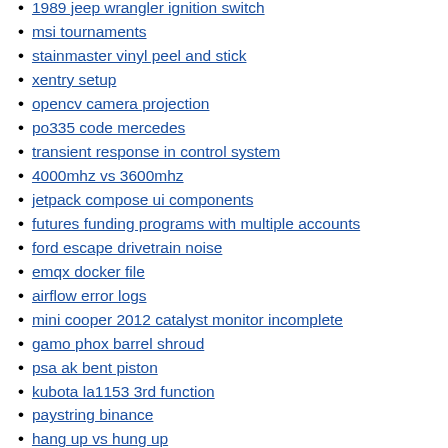1989 jeep wrangler ignition switch
msi tournaments
stainmaster vinyl peel and stick
xentry setup
opencv camera projection
po335 code mercedes
transient response in control system
4000mhz vs 3600mhz
jetpack compose ui components
futures funding programs with multiple accounts
ford escape drivetrain noise
emqx docker file
airflow error logs
mini cooper 2012 catalyst monitor incomplete
gamo phox barrel shroud
psa ak bent piston
kubota la1153 3rd function
paystring binance
hang up vs hung up
cbs sunday morning reporters
kpmg career path
lenovo tb15
revstar guitar center
chirp file for baofeng
signs of a deadbeat boyfriend